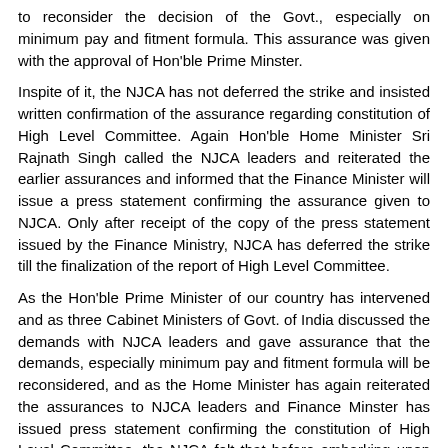to reconsider the decision of the Govt., especially on minimum pay and fitment formula. This assurance was given with the approval of Hon'ble Prime Minster.
Inspite of it, the NJCA has not deferred the strike and insisted written confirmation of the assurance regarding constitution of High Level Committee. Again Hon'ble Home Minister Sri Rajnath Singh called the NJCA leaders and reiterated the earlier assurances and informed that the Finance Minister will issue a press statement confirming the assurance given to NJCA. Only after receipt of the copy of the press statement issued by the Finance Ministry, NJCA has deferred the strike till the finalization of the report of High Level Committee.
As the Hon'ble Prime Minister of our country has intervened and as three Cabinet Ministers of Govt. of India discussed the demands with NJCA leaders and gave assurance that the demands, especially minimum pay and fitment formula will be reconsidered, and as the Home Minister has again reiterated the assurances to NJCA leaders and Finance Minster has issued press statement confirming the constitution of High Level Committee, the NJCA felt that before embarking upon an indefinite strike which is the last weapon in the hands of the workers, we should give time to the Govt. to implement the Minister's assurances given as per the direction of the Prime Minister and honour its commitment given to NJCA leaders. NJCA